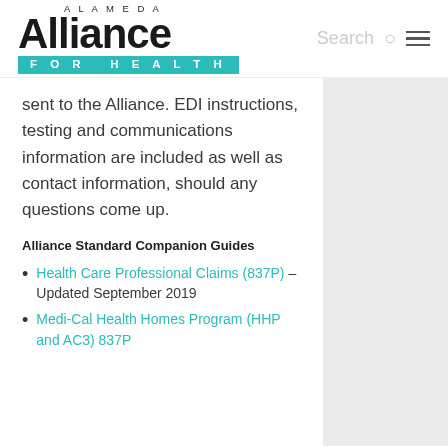[Figure (logo): Alameda Alliance for Health logo with teal bar]
sent to the Alliance. EDI instructions, testing and communications information are included as well as contact information, should any questions come up.
Alliance Standard Companion Guides
Health Care Professional Claims (837P) – Updated September 2019
Medi-Cal Health Homes Program (HHP and AC3) 837P